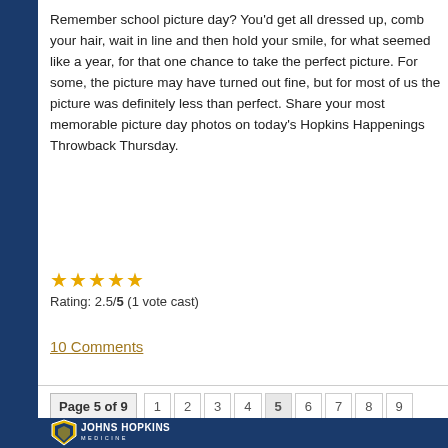Remember school picture day? You'd get all dressed up, comb your hair, wait in line and then hold your smile, for what seemed like a year, for that one chance to take the perfect picture. For some, the picture may have turned out fine, but for most of us the picture was definitely less than perfect. Share your most memorable picture day photos on today's Hopkins Happenings Throwback Thursday.
Rating: 5.0/5 (1 vote cast)
10 Comments
Page 5 of 9  1 2 3 4 5 6 7 8 9
[Figure (logo): Johns Hopkins Medicine logo with shield icon]